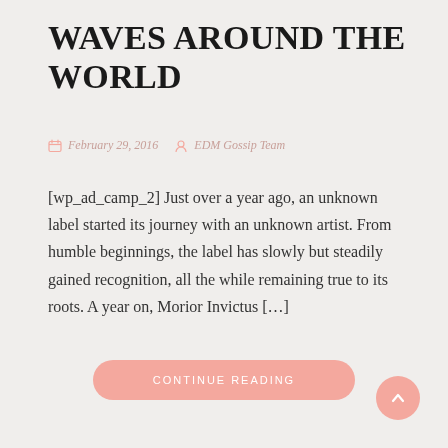WAVES AROUND THE WORLD
February 29, 2016    EDM Gossip Team
[wp_ad_camp_2] Just over a year ago, an unknown label started its journey with an unknown artist. From humble beginnings, the label has slowly but steadily gained recognition, all the while remaining true to its roots. A year on, Morior Invictus […]
CONTINUE READING